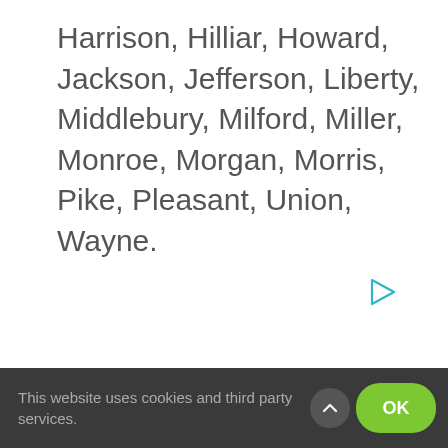Harrison, Hilliar, Howard, Jackson, Jefferson, Liberty, Middlebury, Milford, Miller, Monroe, Morgan, Morris, Pike, Pleasant, Union, Wayne.
[Figure (other): Small cyan/teal play button triangle icon]
This website uses cookies and third party services.